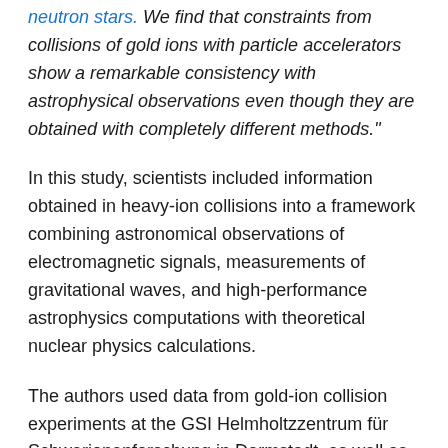neutron stars. We find that constraints from collisions of gold ions with particle accelerators show a remarkable consistency with astrophysical observations even though they are obtained with completely different methods."
In this study, scientists included information obtained in heavy-ion collisions into a framework combining astronomical observations of electromagnetic signals, measurements of gravitational waves, and high-performance astrophysics computations with theoretical nuclear physics calculations.
The authors used data from gold-ion collision experiments at the GSI Helmholtzzentrum für Schwerionenforschung in Darmstadt, as well as Brookhaven National Laboratory and Lawrence Berkeley National Laboratory in the United States, in their multi-step procedure that analyses constraints from nuclear theory and astrophysical observations, such as neutron star mass measurements from radio observations